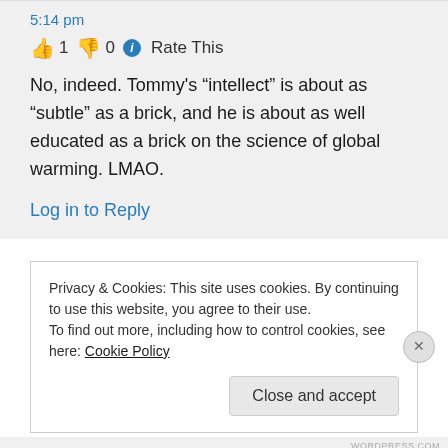5:14 pm
👍 1 👎 0 ℹ Rate This
No, indeed. Tommy's “intellect” is about as “subtle” as a brick, and he is about as well educated as a brick on the science of global warming. LMAO.
Log in to Reply
Privacy & Cookies: This site uses cookies. By continuing to use this website, you agree to their use.
To find out more, including how to control cookies, see here: Cookie Policy
Close and accept